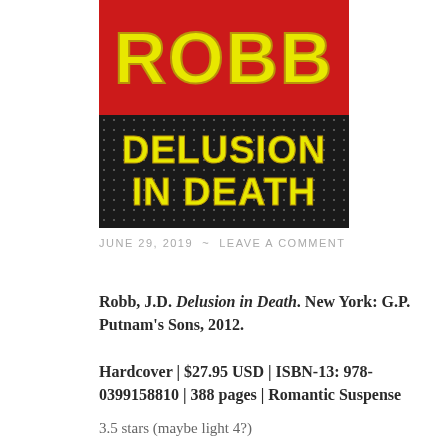[Figure (photo): Book cover of 'Delusion in Death' by J.D. Robb. Top half is red with yellow bold text 'ROBB'. Bottom half is dark/black with dot pattern and yellow bold text 'DELUSION IN DEATH'.]
JUNE 29, 2019  ~  LEAVE A COMMENT
Robb, J.D. Delusion in Death. New York: G.P. Putnam's Sons, 2012.
Hardcover | $27.95 USD | ISBN-13: 978-0399158810 | 388 pages | Romantic Suspense
3.5 stars (maybe light 4?)